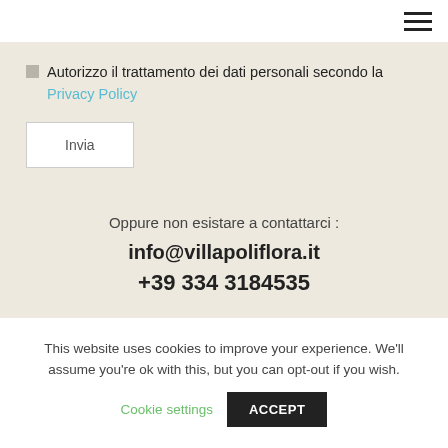☰ (hamburger menu icon)
Autorizzo il trattamento dei dati personali secondo la Privacy Policy
Invia
Oppure non esistare a contattarci :
info@villapoliflora.it
+39 334 3184535
This website uses cookies to improve your experience. We'll assume you're ok with this, but you can opt-out if you wish.
Cookie settings
ACCEPT